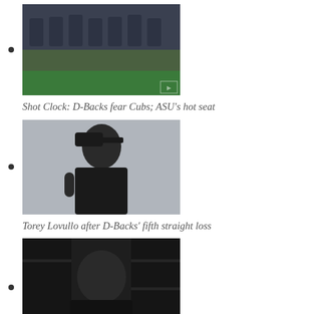Shot Clock: D-Backs fear Cubs; ASU's hot seat
Torey Lovullo after D-Backs' fifth straight loss
Zack Godley on rough start vs. Braves
Patrick Corbin goes five innings vs. Braves